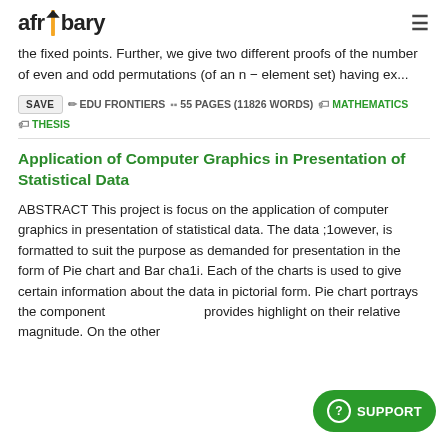afribary
the fixed points. Further, we give two different proofs of the number of even and odd permutations (of an n − element set) having ex...
SAVE  EDU FRONTIERS  55 PAGES (11826 WORDS)  MATHEMATICS  THESIS
Application of Computer Graphics in Presentation of Statistical Data
ABSTRACT This project is focus on the application of computer graphics in presentation of statistical data. The data ;1owever, is formatted to suit the purpose as demanded for presentation in the form of Pie chart and Bar cha1i. Each of the charts is used to give certain information about the data in pictorial form. Pie chart portrays the components and provides highlight on their relative magnitude. On the other